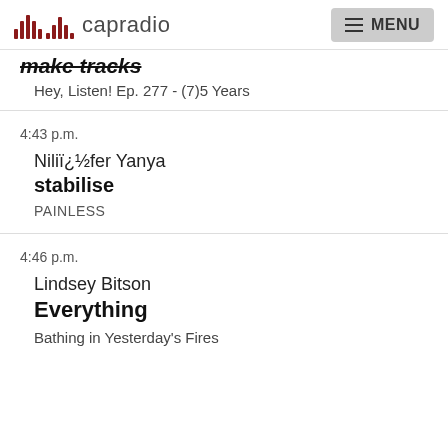capradio MENU
make tracks
Hey, Listen! Ep. 277 - (7)5 Years
4:43 p.m.
Nilüfer Yanya
stabilise
PAINLESS
4:46 p.m.
Lindsey Bitson
Everything
Bathing in Yesterday's Fires